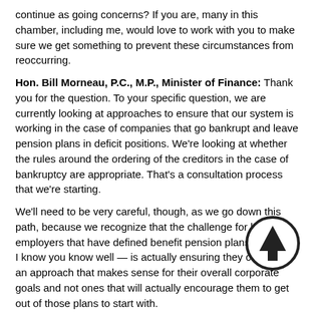continue as going concerns? If you are, many in this chamber, including me, would love to work with you to make sure we get something to prevent these circumstances from reoccurring.
Hon. Bill Morneau, P.C., M.P., Minister of Finance: Thank you for the question. To your specific question, we are currently looking at approaches to ensure that our system is working in the case of companies that go bankrupt and leave pension plans in deficit positions. We're looking at whether the rules around the ordering of the creditors in the case of bankruptcy are appropriate. That's a consultation process that we're starting.
We'll need to be very careful, though, as we go down this path, because we recognize that the challenge for large employers that have defined benefit pension plans — which I know you know well — is actually ensuring they can have an approach that makes sense for their overall corporate goals and not ones that will actually encourage them to get out of those plans to start with.
In Ontario, now, among private-sector workers, fewer than 10 per cent of people are in defined benefit plans. These plans are obviously increasingly rare. We want to make sure we can balance so we don't drive people out of these plans but appropriately protect those who have the entitlements, particularly in the case of devastating circumstances such as those of the Sears employees.